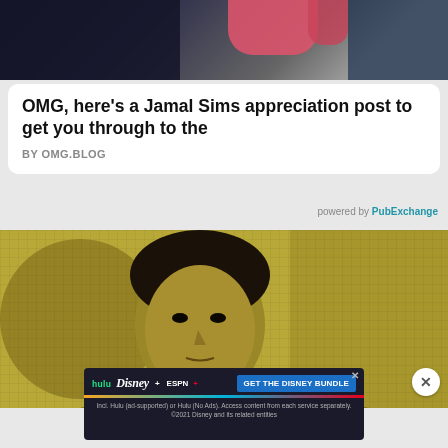[Figure (photo): Partial photo showing someone wearing pink/red shorts, cropped view from torso down, with dark background]
OMG, here's a Jamal Sims appreciation post to get you through to the
BY OMG.BLOG
powered by PubExchange
[Figure (photo): Black and white / sepia toned close-up portrait of a young boy/teen looking at camera, with a textured grid background in golden/yellow tones. A close button (X) appears in bottom right.]
[Figure (other): Disney Bundle advertisement banner showing Hulu, Disney+, ESPN+ logos with 'GET THE DISNEY BUNDLE' call to action button. Fine print: Incl. Hulu (ad-supported) or Hulu (No Ads). Access content from each service separately. ©2021 Disney and its related entities]